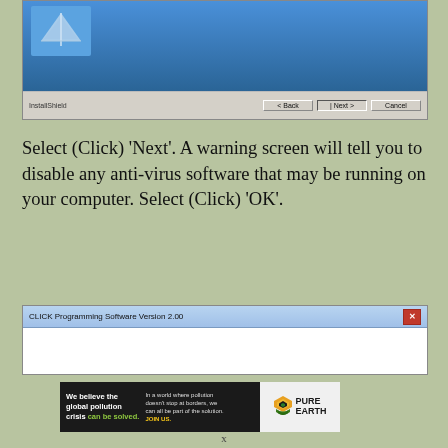[Figure (screenshot): Windows installer dialog showing a blue setup screen with InstallShield branding, Back, Next, and Cancel buttons at the bottom]
Select (Click) ‘Next’. A warning screen will tell you to disable any anti-virus software that may be running on your computer. Select (Click) ‘OK’.
[Figure (screenshot): CLICK Programming Software Version 2.00 dialog window with blue title bar and red close button]
[Figure (infographic): Pure Earth advertisement banner: We believe the global pollution crisis can be solved. JOIN US.]
x